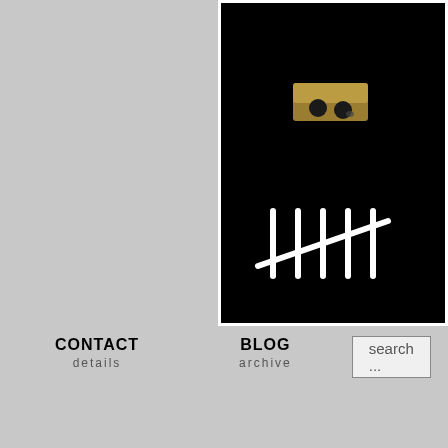[Figure (photo): Dark/black background photo showing a small metallic or gold-colored component object at top, and a tally mark symbol (five vertical lines with one diagonal) in white at bottom. The image is framed with a white border.]
CONTACT
details
BLOG
archive
search ...